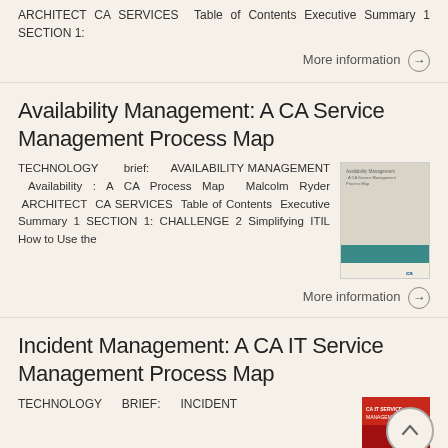ARCHITECT CA SERVICES Table of Contents Executive Summary 1 SECTION 1:
More information →
Availability Management: A CA Service Management Process Map
TECHNOLOGY brief: AVAILABILITY MANAGEMENT Availability : A CA Process Map Malcolm Ryder ARCHITECT CA SERVICES Table of Contents Executive Summary 1 SECTION 1: CHALLENGE 2 Simplifying ITIL How to Use the
More information →
Incident Management: A CA IT Service Management Process Map
TECHNOLOGY BRIEF: INCIDENT